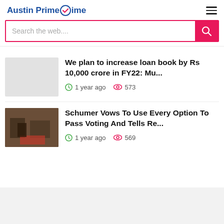Austin PrimeTime
Search the web....
We plan to increase loan book by Rs 10,000 crore in FY22: Mu...
1 year ago   573
Schumer Vows To Use Every Option To Pass Voting And Tells Re...
1 year ago   569